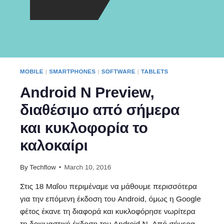[Figure (photo): Partial image of a device/laptop on a teal/cyan background, cropped at top of page]
MOBILE | SMARTPHONES | SOFTWARE | TABLETS
Android N Preview, διαθέσιμο από σήμερα και κυκλοφορία το καλοκαίρι
By Techflow • March 10, 2016
Στις 18 Μαΐου περιμέναμε να μάθουμε περισσότερα για την επόμενη έκδοση του Android, όμως η Google φέτος έκανε τη διαφορά και κυκλοφόρησε νωρίτερα τη δοκιμαστική έκδοση του Android N. Από σήμερα το πρωί η δοκιμαστική έκδοση είναι